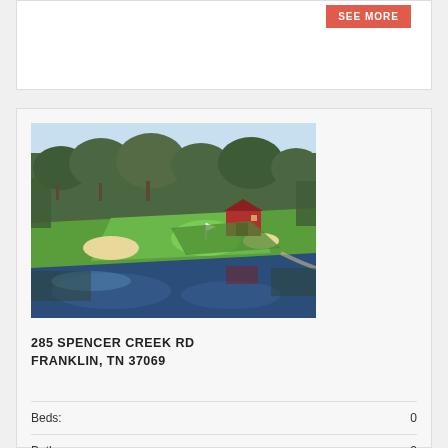[Figure (photo): Golf course with pond, green fairway, sand bunkers, trees, and a red barn/shed in background]
285 SPENCER CREEK RD
FRANKLIN, TN 37069
Beds: 0
Baths: 0
Home Size: 0 sqft
Home Description: